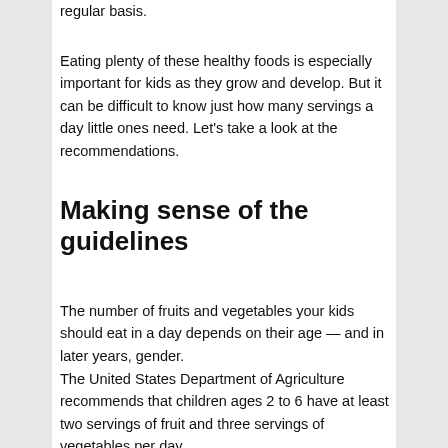regular basis.
Eating plenty of these healthy foods is especially important for kids as they grow and develop. But it can be difficult to know just how many servings a day little ones need. Let’s take a look at the recommendations.
Making sense of the guidelines
The number of fruits and vegetables your kids should eat in a day depends on their age — and in later years, gender.
The United States Department of Agriculture recommends that children ages 2 to 6 have at least two servings of fruit and three servings of vegetables per day.